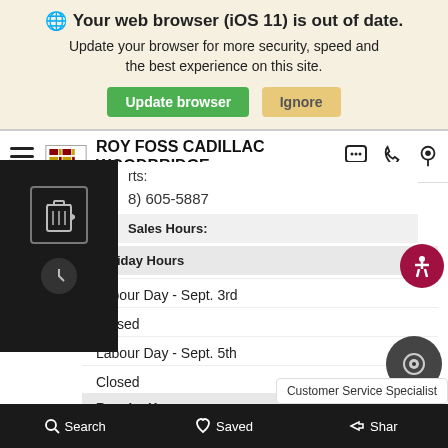🌐 Your web browser (iOS 11) is out of date. Update your browser for more security, speed and the best experience on this site.
Update browser | Ignore
[Figure (screenshot): Roy Foss Cadillac Woodbridge navigation bar with hamburger menu, Cadillac logo, dealer name, and icons]
rts:
8) 605-5887
Sales Hours:
Holiday Hours
Labour Day - Sept. 3rd
Closed
Labour Day - Sept. 5th
Closed
Regular Hours
Mon - Fri
Search | Saved | Shar... | Customer Service Specialist